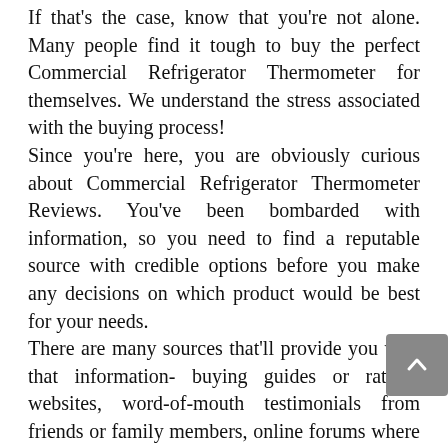If that's the case, know that you're not alone. Many people find it tough to buy the perfect Commercial Refrigerator Thermometer for themselves. We understand the stress associated with the buying process! Since you're here, you are obviously curious about Commercial Refrigerator Thermometer Reviews. You've been bombarded with information, so you need to find a reputable source with credible options before you make any decisions on which product would be best for your needs. There are many sources that'll provide you with that information- buying guides or ratings websites, word-of-mouth testimonials from friends or family members, online forums where users share their personal experiences, product reviews specifically found all over the internet and YouTube channels. Only thorough